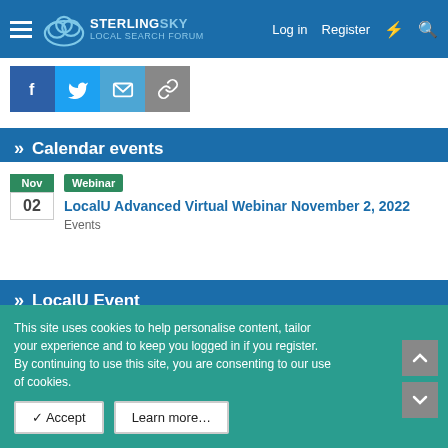Sterling Sky Local Search Forum — Log in | Register
[Figure (screenshot): Social share buttons: Facebook, Twitter, Email, Link]
» Calendar events
Nov 02 | Webinar | LocalU Advanced Virtual Webinar November 2, 2022 | Events
» LocalU Event
This site uses cookies to help personalise content, tailor your experience and to keep you logged in if you register.
By continuing to use this site, you are consenting to our use of cookies.
✓ Accept   Learn more…